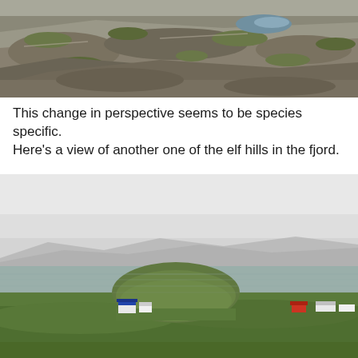[Figure (photo): Close-up photograph of rocky terrain with moss and sparse grass covering grey boulders and stones on a hillside, with a small pool of water visible in the background.]
This change in perspective seems to be species specific. Here’s a view of another one of the elf hills in the fjord.
[Figure (photo): Landscape photograph of a misty fjord scene showing a low rounded hill (elf hill) in the center background, with small farm buildings and houses at its base, green fields in the foreground, and grey overcast sky with fog obscuring distant mountains.]